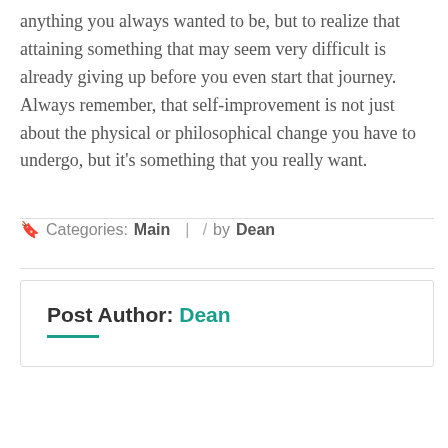anything you always wanted to be, but to realize that attaining something that may seem very difficult is already giving up before you even start that journey. Always remember, that self-improvement is not just about the physical or philosophical change you have to undergo, but it's something that you really want.
Categories: Main | / by Dean
Post Author: Dean